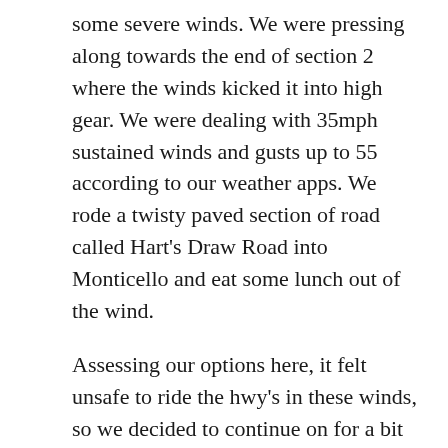some severe winds. We were pressing along towards the end of section 2 where the winds kicked it into high gear. We were dealing with 35mph sustained winds and gusts up to 55 according to our weather apps. We rode a twisty paved section of road called Hart's Draw Road into Monticello and eat some lunch out of the wind.
Assessing our options here, it felt unsafe to ride the hwy's in these winds, so we decided to continue on for a bit on the UtahBDR to see if there might be some reprieve from the winds away from the pavement. There was not and it seemed to be getting harder to keep the bikes in line. We were very fortunate to be near Devils Canyon National Forest Campground and found the one spot out of the wind. it was protected just perfectly by some rocks and trees. We immediately snatched it up and settled into camp about 3:30pm. We